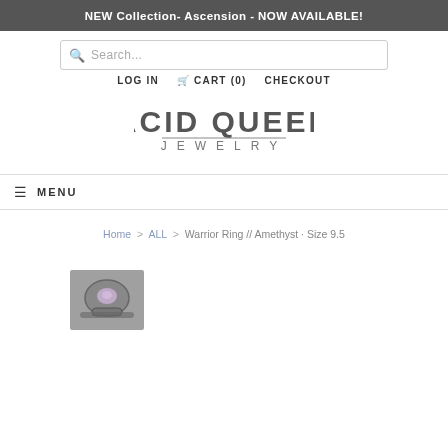NEW Collection- Ascension - NOW AVAILABLE!
Search...
LOG IN   CART (0)   CHECKOUT
[Figure (logo): Acid Queen Jewelry logo in dark gray letters]
MENU
Home > ALL > Warrior Ring // Amethyst · Size 9.5
[Figure (photo): Thumbnail of a ring with amethyst stone set in silver, textured band]